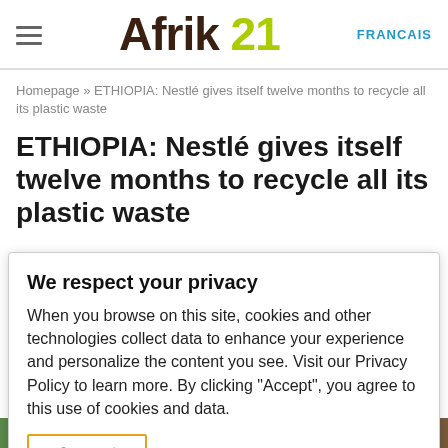Afrik 21  FRANCAIS
Homepage » ETHIOPIA: Nestlé gives itself twelve months to recycle all its plastic waste
ETHIOPIA: Nestlé gives itself twelve months to recycle all its plastic waste
We respect your privacy
When you browse on this site, cookies and other technologies collect data to enhance your experience and personalize the content you see. Visit our Privacy Policy to learn more. By clicking "Accept", you agree to this use of cookies and data.
Accept